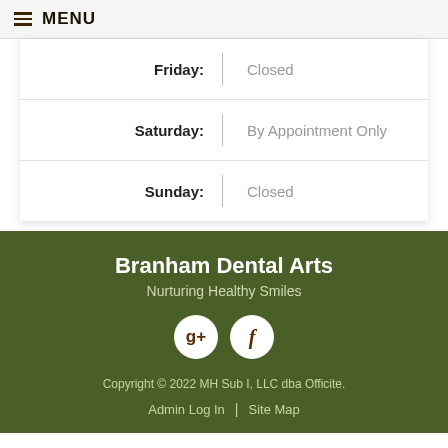MENU
| Day | Hours |
| --- | --- |
| Friday: | Closed |
| Saturday: | By Appointment Only |
| Sunday: | Closed |
Branham Dental Arts
Nurturing Healthy Smiles
[Figure (logo): Google Plus and Facebook social media icon buttons]
Copyright © 2022 MH Sub I, LLC dba Officite. Admin Log In | Site Map